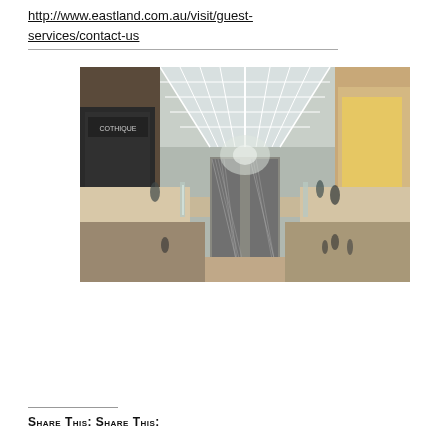http://www.eastland.com.au/visit/guest-services/contact-us
[Figure (photo): Interior of a modern shopping mall showing two levels with escalators in the center, glass railings, a skylight ceiling with white geometric framework, retail stores on both sides, and shoppers walking through the corridor.]
Share this: